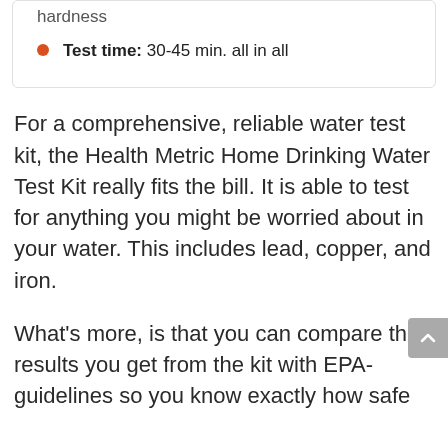hardness
Test time: 30-45 min. all in all
For a comprehensive, reliable water test kit, the Health Metric Home Drinking Water Test Kit really fits the bill. It is able to test for anything you might be worried about in your water. This includes lead, copper, and iron.
What's more, is that you can compare the results you get from the kit with EPA-guidelines so you know exactly how safe